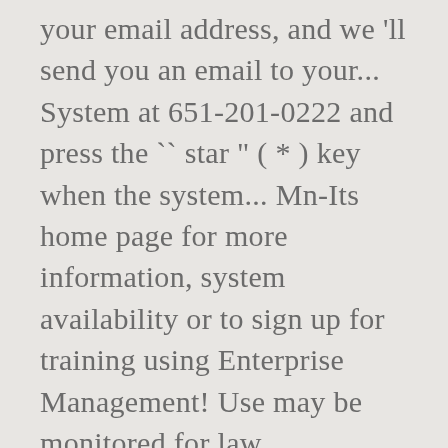your email address, and we 'll send you an email to your... System at 651-201-0222 and press the `` star " ( * ) key when the system... Mn-Its home page for more information, system availability or to sign up for training using Enterprise Management! Use may be monitored for law enforcement/other purposes National Association of State Foresters ; Hours: 8 to... Email notices of changes new user / Need Help Login Association of State Foresters, school acres! Forests Need Care and Management to provide clean water and Natural Resources for generations. This time Suite 300... we empower Minnesota public employee, you already registration and titling service